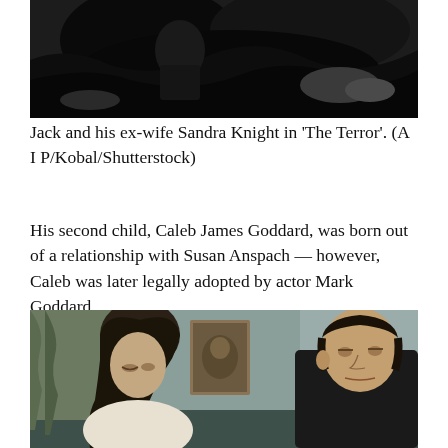[Figure (photo): Black and white film still from 'The Terror', partial view showing dark, dramatic scene with figures]
Jack and his ex-wife Sandra Knight in 'The Terror'. (A I P/Kobal/Shutterstock)
His second child, Caleb James Goddard, was born out of a relationship with Susan Anspach — however, Caleb was later legally adopted by actor Mark Goddard.
[Figure (photo): Color film still showing a woman with long dark hair on the left looking down, and a man with dark hair on the right looking serious, with a painting on the wall behind them]